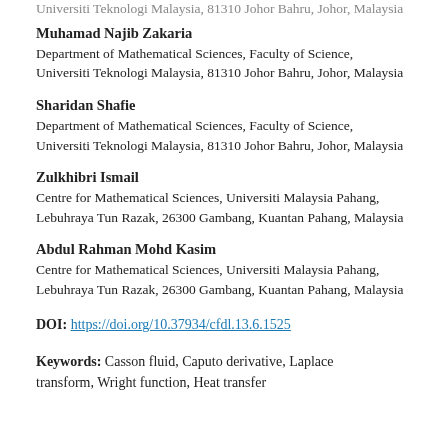Universiti Teknologi Malaysia, 81310 Johor Bahru, Johor, Malaysia
Muhamad Najib Zakaria
Department of Mathematical Sciences, Faculty of Science, Universiti Teknologi Malaysia, 81310 Johor Bahru, Johor, Malaysia
Sharidan Shafie
Department of Mathematical Sciences, Faculty of Science, Universiti Teknologi Malaysia, 81310 Johor Bahru, Johor, Malaysia
Zulkhibri Ismail
Centre for Mathematical Sciences, Universiti Malaysia Pahang, Lebuhraya Tun Razak, 26300 Gambang, Kuantan Pahang, Malaysia
Abdul Rahman Mohd Kasim
Centre for Mathematical Sciences, Universiti Malaysia Pahang, Lebuhraya Tun Razak, 26300 Gambang, Kuantan Pahang, Malaysia
DOI: https://doi.org/10.37934/cfdl.13.6.1525
Keywords: Casson fluid, Caputo derivative, Laplace transform, Wright function, Heat transfer